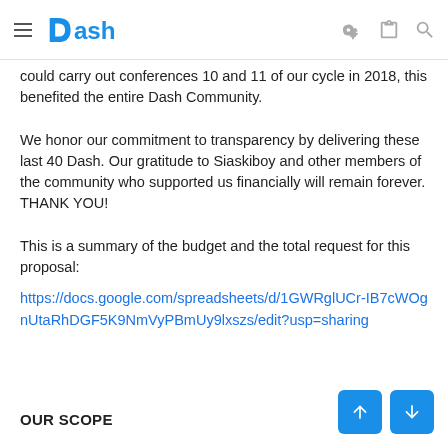Dash
could carry out conferences 10 and 11 of our cycle in 2018, this benefited the entire Dash Community.
We honor our commitment to transparency by delivering these last 40 Dash. Our gratitude to Siaskiboy and other members of the community who supported us financially will remain forever. THANK YOU!
This is a summary of the budget and the total request for this proposal:
https://docs.google.com/spreadsheets/d/1GWRglUCr-IB7cWOgnUtaRhDGF5K9NmVyPBmUy9lxszs/edit?usp=sharing
OUR SCOPE